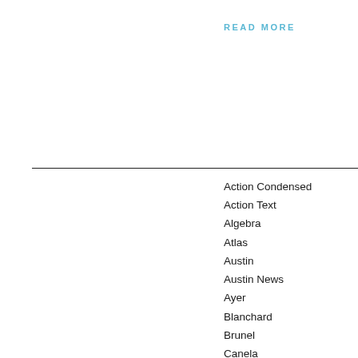READ MORE
Action Condensed
Action Text
Algebra
Atlas
Austin
Austin News
Ayer
Blanchard
Brunel
Canela
Caponi
Caslon Doric
Caslon Ionic
Chicaiol Out...